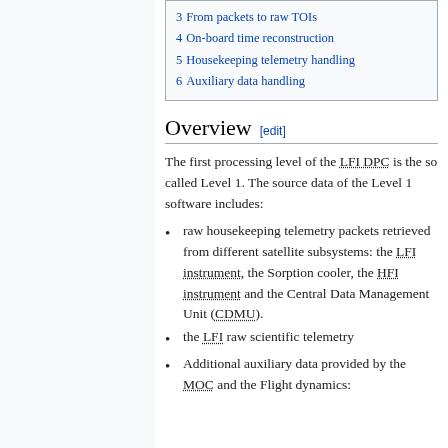3 From packets to raw TOIs
4 On-board time reconstruction
5 Housekeeping telemetry handling
6 Auxiliary data handling
Overview [edit]
The first processing level of the LFI DPC is the so called Level 1. The source data of the Level 1 software includes:
raw housekeeping telemetry packets retrieved from different satellite subsystems: the LFI instrument, the Sorption cooler, the HFI instrument and the Central Data Management Unit (CDMU).
the LFI raw scientific telemetry
Additional auxiliary data provided by the MOC and the Flight dynamics: